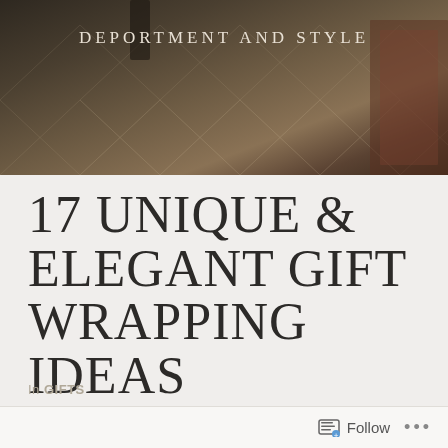[Figure (photo): Dark background header image showing an elegant interior/architectural space with marble floors and decorative elements, with the site title 'DEPORTMENT AND STYLE' overlaid in white uppercase letters]
17 UNIQUE & ELEGANT GIFT WRAPPING IDEAS
In GIFTS
There are many ways to wrap presents today. In this article we will...